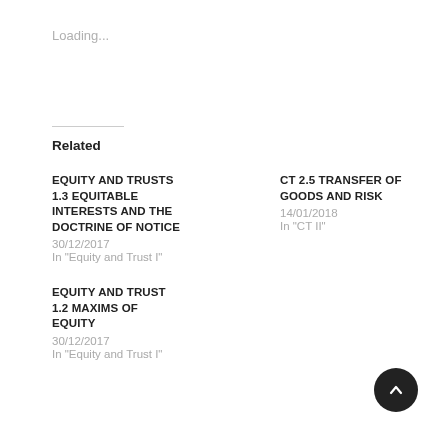Loading...
Related
EQUITY AND TRUSTS 1.3 EQUITABLE INTERESTS AND THE DOCTRINE OF NOTICE
30/12/2017
In "Equity and Trust I"
CT 2.5 TRANSFER OF GOODS AND RISK
14/01/2018
In "CT II"
EQUITY AND TRUST 1.2 MAXIMS OF EQUITY
30/12/2017
In "Equity and Trust I"